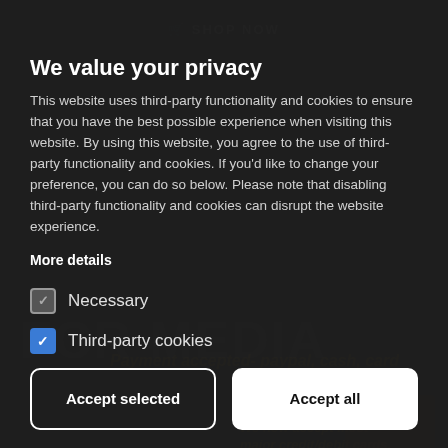We value your privacy
This website uses third-party functionality and cookies to ensure that you have the best possible experience when visiting this website. By using this website, you agree to the use of third-party functionality and cookies. If you'd like to change your preference, you can do so below. Please note that disabling third-party functionality and cookies can disrupt the website experience.
More details
Necessary (unchecked)
Third-party cookies (checked)
Accept selected | Accept all